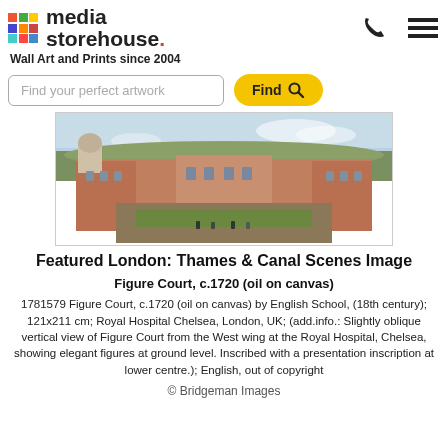[Figure (logo): Media Storehouse logo with colorful grid icon and text]
Wall Art and Prints since 2004
Find your perfect artwork
[Figure (photo): Painting of Figure Court at Royal Hospital Chelsea, c.1720, showing an oblique vertical view of a grand baroque building with formal gardens and elegant figures at ground level]
Featured London: Thames & Canal Scenes Image
Figure Court, c.1720 (oil on canvas)
1781579 Figure Court, c.1720 (oil on canvas) by English School, (18th century); 121x211 cm; Royal Hospital Chelsea, London, UK; (add.info.: Slightly oblique vertical view of Figure Court from the West wing at the Royal Hospital, Chelsea, showing elegant figures at ground level. Inscribed with a presentation inscription at lower centre.); English, out of copyright
© Bridgeman Images